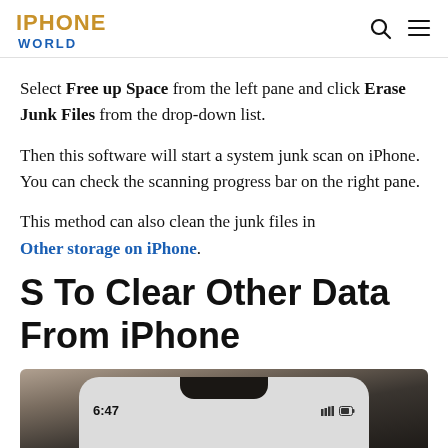IPHONE WORLD
Select Free up Space from the left pane and click Erase Junk Files from the drop-down list.
Then this software will start a system junk scan on iPhone. You can check the scanning progress bar on the right pane.
This method can also clean the junk files in Other storage on iPhone.
S To Clear Other Data From iPhone
[Figure (photo): Top portion of an iPhone showing the screen with time 6:47, the notch, and status bar icons, on a blurred background.]